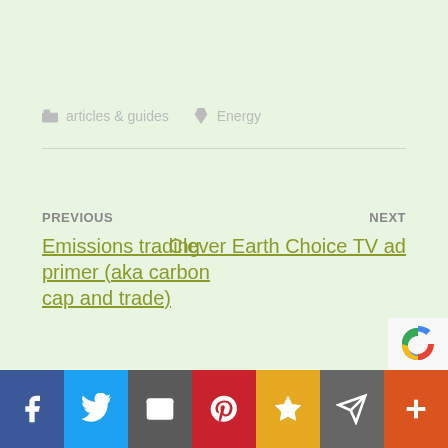articles & guides   Energy
PREVIOUS
Emissions trading primer (aka carbon cap and trade)
NEXT
Clever Earth Choice TV ad
Facebook  Twitter  Email  Pinterest  Favorites  Message  More